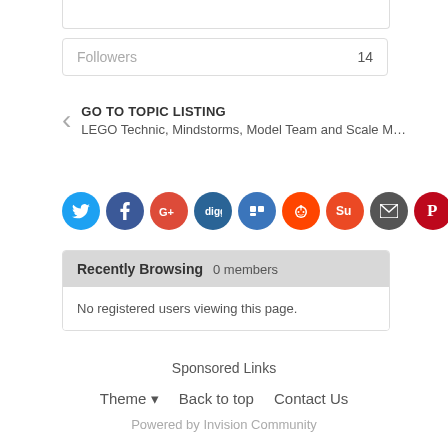Followers  14
GO TO TOPIC LISTING
LEGO Technic, Mindstorms, Model Team and Scale M...
[Figure (infographic): Row of 9 social sharing icon circles: Twitter (blue), Facebook (dark blue), Google+ (red), Digg (blue), Delicious (blue), Reddit (orange-red), StumbleUpon (orange-red), Email (dark gray), Pinterest (dark red)]
Recently Browsing  0 members
No registered users viewing this page.
Sponsored Links
Theme ▾   Back to top   Contact Us
Powered by Invision Community